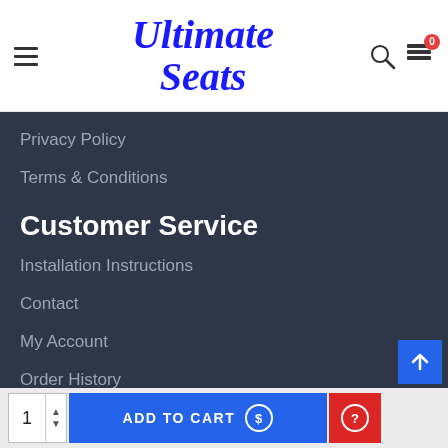Ultimate Seats — navigation header with hamburger menu, logo, search and cart icons
Privacy Policy
Terms & Conditions
Customer Service
Installation Instructions
Contact
My Account
Order History
Site Map
ADD TO CART — quantity 1, add to cart button, S icon, help icon